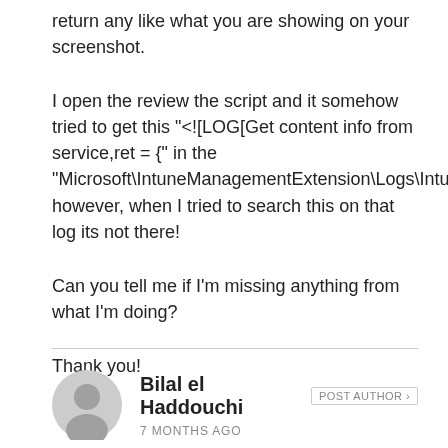return any like what you are showing on your screenshot.
I open the review the script and it somehow tried to get this "<![LOG[Get content info from service,ret = {" in the "Microsoft\IntuneManagementExtension\Logs\IntuneManagementExtension.log" however, when I tried to search this on that log its not there!
Can you tell me if I'm missing anything from what I'm doing?
Thank you!
Bilal el Haddouchi  POST AUTHOR
7 MONTHS AGO